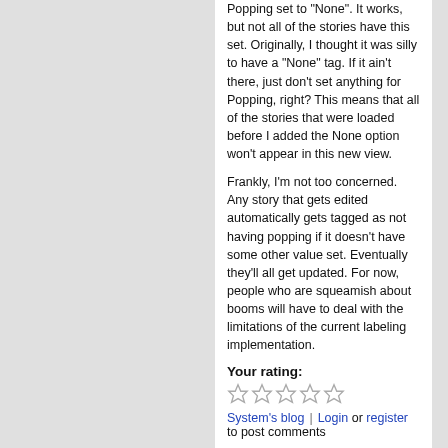Popping set to "None". It works, but not all of the stories have this set. Originally, I thought it was silly to have a "None" tag. If it ain't there, just don't set anything for Popping, right? This means that all of the stories that were loaded before I added the None option won't appear in this new view.
Frankly, I'm not too concerned. Any story that gets edited automatically gets tagged as not having popping if it doesn't have some other value set. Eventually they'll all get updated. For now, people who are squeamish about booms will have to deal with the limitations of the current labeling implementation.
Your rating:
[Figure (other): Five empty star rating icons]
System's blog | Login or register to post comments